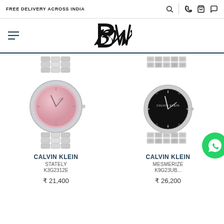FREE DELIVERY ACROSS INDIA
[Figure (logo): BW monogram logo in cursive script]
[Figure (photo): Calvin Klein Stately watch K3G2312E - silver bracelet with pink mother-of-pearl dial]
CALVIN KLEIN
STATELY
K3G2312E
₹ 21,400
[Figure (photo): Calvin Klein Mesmerize watch K9G23UB - silver bracelet with black dial]
CALVIN KLEIN
MESMERIZE
K9G23UB...
₹ 26,200